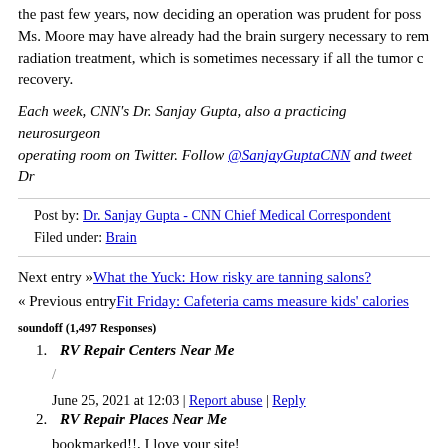the past few years, now deciding an operation was prudent for possible... Ms. Moore may have already had the brain surgery necessary to remove... radiation treatment, which is sometimes necessary if all the tumor ca... recovery.
Each week, CNN's Dr. Sanjay Gupta, also a practicing neurosurgeon... operating room on Twitter. Follow @SanjayGuptaCNN and tweet Dr...
Post by: Dr. Sanjay Gupta - CNN Chief Medical Correspondent
Filed under: Brain
Next entry »What the Yuck: How risky are tanning salons?
« Previous entryFit Friday: Cafeteria cams measure kids' calories
soundoff (1,497 Responses)
1. RV Repair Centers Near Me
/
June 25, 2021 at 12:03 | Report abuse | Reply
2. RV Repair Places Near Me
bookmarked!!, I love your site!